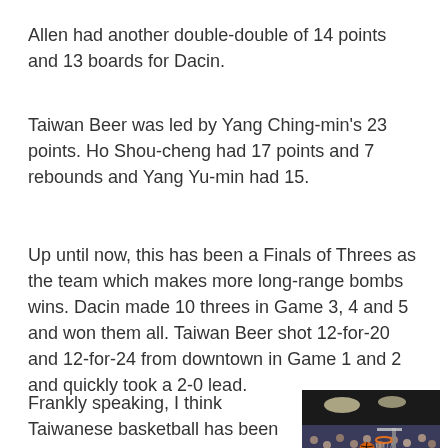Allen had another double-double of 14 points and 13 boards for Dacin.
Taiwan Beer was led by Yang Ching-min's 23 points. Ho Shou-cheng had 17 points and 7 rebounds and Yang Yu-min had 15.
Up until now, this has been a Finals of Threes as the team which makes more long-range bombs wins. Dacin made 10 threes in Game 3, 4 and 5 and won them all. Taiwan Beer shot 12-for-20 and 12-for-24 from downtown in Game 1 and 2 and quickly took a 2-0 lead.
Frankly speaking, I think Taiwanese basketball has been going in the wrong direction by shooting more and more threes. It's true that Taiwan always faces taller and physically stronger opponents in international competition, but you just don't live and die by
[Figure (photo): Basketball game photo showing players competing near the basket in an arena with crowd in the background]